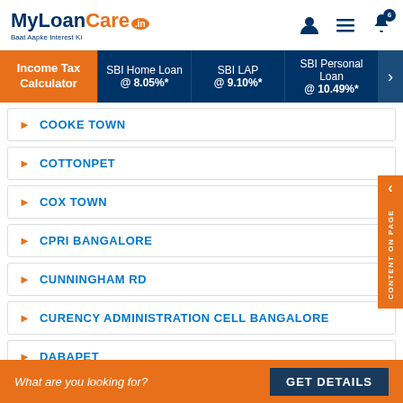MyLoanCare.in - Baat Aapke Interest Ki
Income Tax Calculator | SBI Home Loan @ 8.05%* | SBI LAP @ 9.10%* | SBI Personal Loan @ 10.49%*
COOKE TOWN
COTTONPET
COX TOWN
CPRI BANGALORE
CUNNINGHAM RD
CURENCY ADMINISTRATION CELL BANGALORE
DABAPET
What are you looking for? GET DETAILS